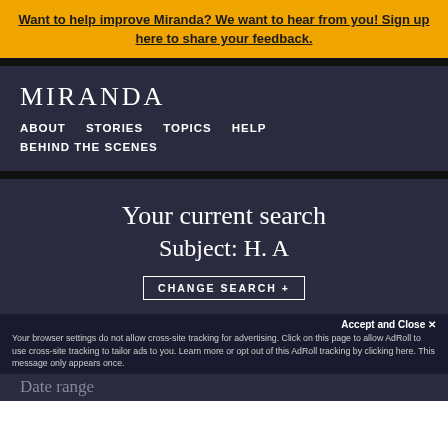Want to help improve Miranda? We want to hear from you! Sign up here to share your feedback.
MIRANDA
ABOUT
STORIES
TOPICS
HELP
BEHIND THE SCENES
Your current search
Subject: H. A
CHANGE SEARCH +
Accept and Close ✕
Your browser settings do not allow cross-site tracking for advertising. Click on this page to allow AdRoll to use cross-site tracking to tailor ads to you. Learn more or opt out of this AdRoll tracking by clicking here. This message only appears once.
Date range